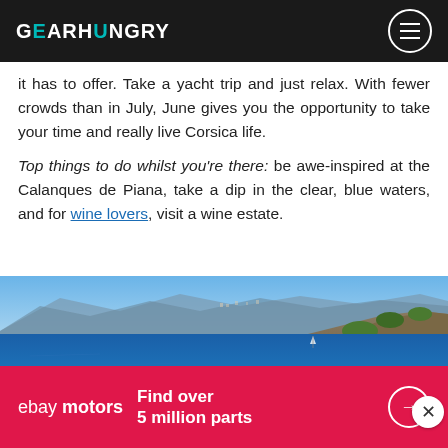GEARHUNGRY
it has to offer. Take a yacht trip and just relax. With fewer crowds than in July, June gives you the opportunity to take your time and really live Corsica life.
Top things to do whilst you're there: be awe-inspired at the Calanques de Piana, take a dip in the clear, blue waters, and for wine lovers, visit a wine estate.
[Figure (photo): Aerial coastal view of Corsica showing deep blue sea, rocky coastline, and distant mountains under clear sky]
ebay motors  Find over 5 million parts →